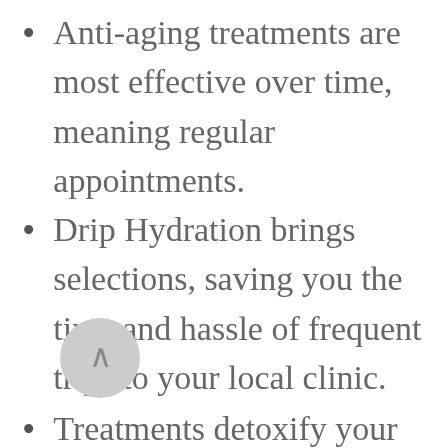Anti-aging treatments are most effective over time, meaning regular appointments.
Drip Hydration brings selections, saving you the time and hassle of frequent trips to your local clinic.
Treatments detoxify your body from free radicals that cause cell age and cell damage which may, in turn, lead to chronic disease.
Ingredients such as NAD and Stem Cells work at the cellular level, promoting cell health and regeneration for natural anti-